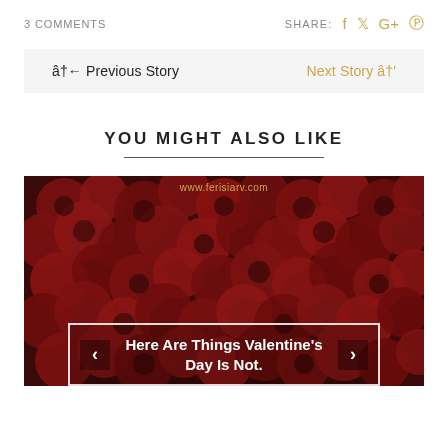3 COMMENTS   SHARE: f  twitter  G+  pinterest
â†â Previous Story    Next Story â†'
YOU MIGHT ALSO LIKE
[Figure (photo): A dense field of dark red roses photographed from above, with 'www.ferisiarv.com' text overlay at top. An overlay box at the bottom reads: Here Are Things Valentine's Day Is Not. with left and right navigation arrows.]